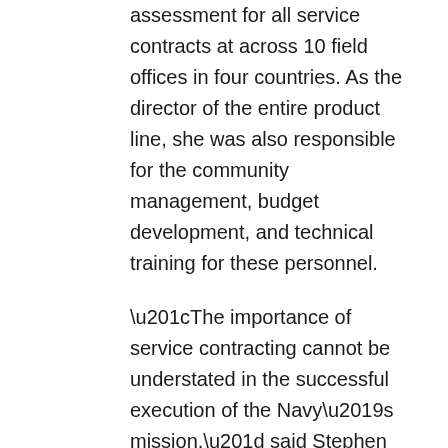assessment for all service contracts at across 10 field offices in four countries. As the director of the entire product line, she was also responsible for the community management, budget development, and technical training for these personnel.
“The importance of service contracting cannot be understated in the successful execution of the Navy’s mission,” said Stephen McKay,